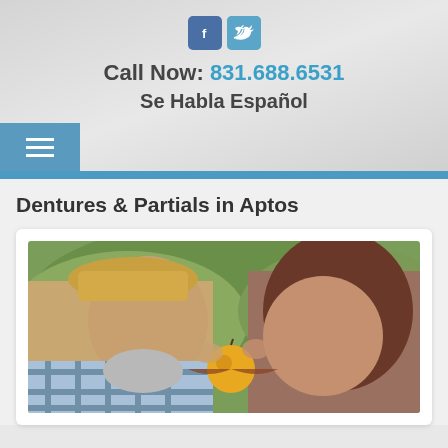[Figure (logo): Facebook and Twitter social media icons]
Call Now: 831.688.6531
Se Habla Español
[Figure (other): Hamburger navigation menu button]
Dentures & Partials in Aptos
[Figure (photo): Elderly couple biting into an apple together, outdoors]